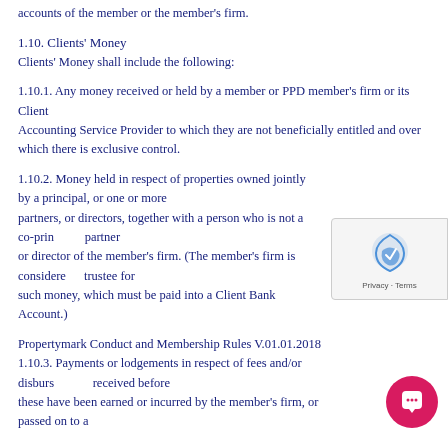accounts of the member or the member's firm.
1.10. Clients' Money
Clients' Money shall include the following:
1.10.1. Any money received or held by a member or PPD member's firm or its Client Accounting Service Provider to which they are not beneficially entitled and over which there is exclusive control.
1.10.2. Money held in respect of properties owned jointly by a principal, or one or more partners, or directors, together with a person who is not a co-principal, partner or director of the member's firm. (The member's firm is considered a trustee for such money, which must be paid into a Client Bank Account.)
Propertymark Conduct and Membership Rules V.01.01.2018
1.10.3. Payments or lodgements in respect of fees and/or disbursements received before these have been earned or incurred by the member's firm, or passed on to a